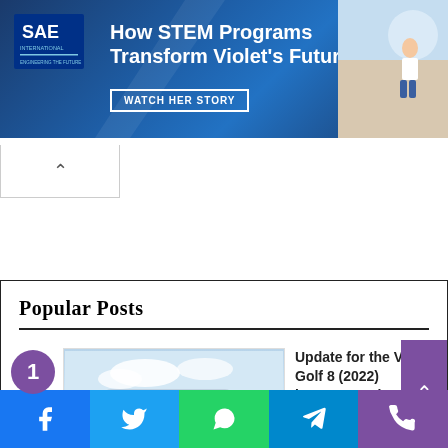[Figure (screenshot): SAE International banner advertisement: 'How STEM Programs Transform Violet's Future — WATCH HER STORY' with blue diagonal design and photo of a child]
[Figure (other): Collapse/hide button with upward-pointing caret arrow]
Popular Posts
[Figure (photo): Thumbnail photo of a VW Golf 8 car in silver/grey color against cloudy sky background]
Update for the VW Golf 8 (2022) improves voice control
March 11, 2022
[Figure (other): Social sharing bar with Facebook, Twitter, WhatsApp, Telegram, and Phone icons]